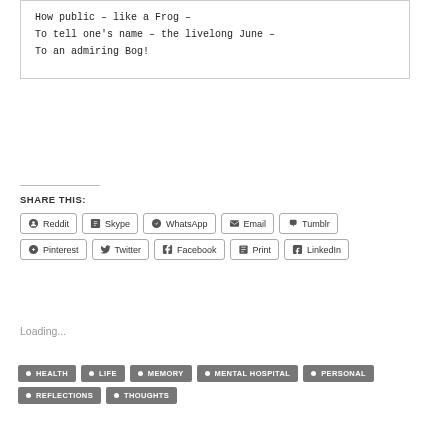How public – like a Frog –
To tell one's name – the livelong June –
To an admiring Bog!
SHARE THIS:
Reddit
Skype
WhatsApp
Email
Tumblr
Pinterest
Twitter
Facebook
Print
LinkedIn
Loading...
HEALTH
LIFE
MEMORY
MENTAL HOSPITAL
PERSONAL
REFLECTIONS
THOUGHTS